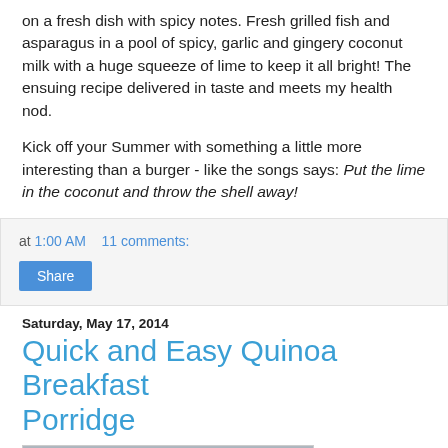on a fresh dish with spicy notes. Fresh grilled fish and asparagus in a pool of spicy, garlic and gingery coconut milk with a huge squeeze of lime to keep it all bright! The ensuing recipe delivered in taste and meets my health nod.
Kick off your Summer with something a little more interesting than a burger - like the songs says: Put the lime in the coconut and throw the shell away!
at 1:00 AM    11 comments:
Share
Saturday, May 17, 2014
Quick and Easy Quinoa Breakfast Porridge
[Figure (photo): Photo of a silver/metallic bowl or pot, close-up, dark background]